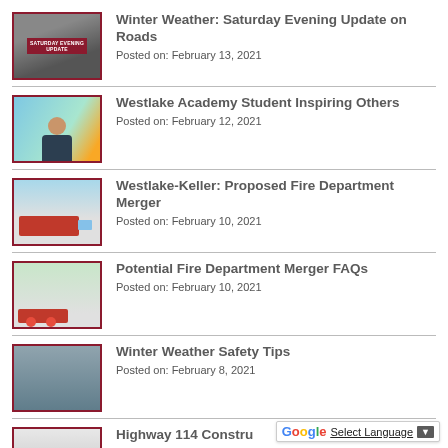Winter Weather: Saturday Evening Update on Roads
Posted on: February 13, 2021
Westlake Academy Student Inspiring Others
Posted on: February 12, 2021
Westlake-Keller: Proposed Fire Department Merger
Posted on: February 10, 2021
Potential Fire Department Merger FAQs
Posted on: February 10, 2021
Winter Weather Safety Tips
Posted on: February 8, 2021
Highway 114 Constru...
Posted on: (cut off)